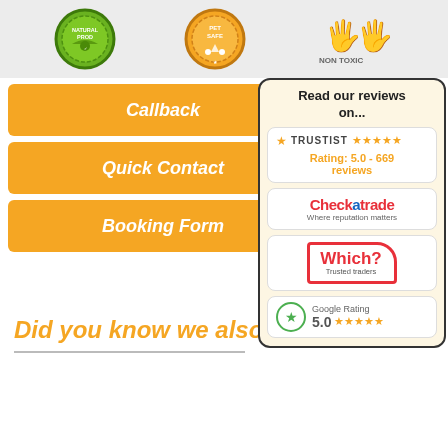[Figure (illustration): Top banner with product certification badges: a green natural product badge, an orange pet safe badge, and two hands icons indicating non-toxic]
Callback
Quick Contact
Booking Form
[Figure (infographic): Review panel with title 'Read our reviews on...' containing Trustist (Rating: 5.0 - 669 reviews), Checkatrade (Where reputation matters), Which? Trusted traders, and Google Rating 5.0 with stars]
Did you know we also...